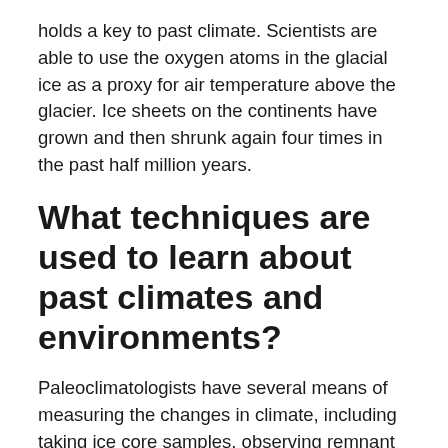holds a key to past climate. Scientists are able to use the oxygen atoms in the glacial ice as a proxy for air temperature above the glacier. Ice sheets on the continents have grown and then shrunk again four times in the past half million years.
What techniques are used to learn about past climates and environments?
Paleoclimatologists have several means of measuring the changes in climate, including taking ice core samples, observing remnant glacial land forms, surveying the sediment on the ocean floor and studying the fossils of ancient vegetation.